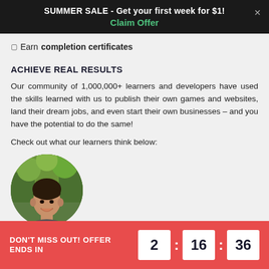SUMMER SALE - Get your first week for $1! Claim Offer
Earn completion certificates
ACHIEVE REAL RESULTS
Our community of 1,000,000+ learners and developers have used the skills learned with us to publish their own games and websites, land their dream jobs, and even start their own businesses – and you have the potential to do the same!
Check out what our learners think below:
[Figure (photo): Circular profile photo of a young man smiling, outdoors with green trees in background]
DON'T MISS OUT! OFFER ENDS IN 2 : 16 : 36